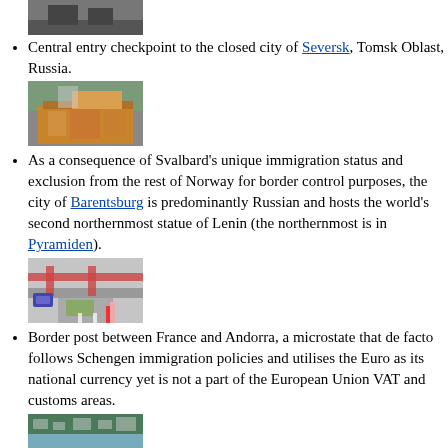[Figure (photo): Central entry checkpoint to the closed city of Seversk, top image (partially visible at top)]
Central entry checkpoint to the closed city of Seversk, Tomsk Oblast, Russia.
[Figure (photo): Building in Svalbard/Barentsburg area]
As a consequence of Svalbard's unique immigration status and exclusion from the rest of Norway for border control purposes, the city of Barentsburg is predominantly Russian and hosts the world's second northernmost statue of Lenin (the northernmost is in Pyramiden).
[Figure (photo): Border post between France and Andorra]
Border post between France and Andorra, a microstate that de facto follows Schengen immigration policies and utilises the Euro as its national currency yet is not a part of the European Union VAT and customs areas.
[Figure (photo): Aerial photo at bottom of page]